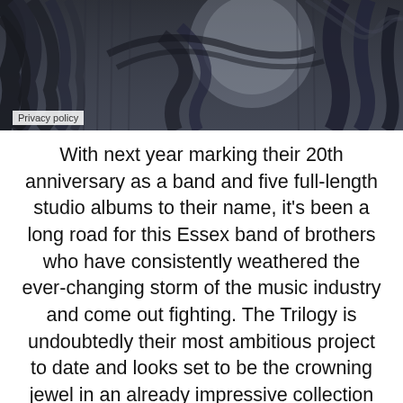[Figure (illustration): Dark artistic illustration showing flowing dark hair and abstract shapes with a muted blue-grey background. A 'Privacy policy' label overlay appears at the bottom-left of the image.]
With next year marking their 20th anniversary as a band and five full-length studio albums to their name, it's been a long road for this Essex band of brothers who have consistently weathered the ever-changing storm of the music industry and come out fighting. The Trilogy is undoubtedly their most ambitious project to date and looks set to be the crowning jewel in an already impressive collection of material.